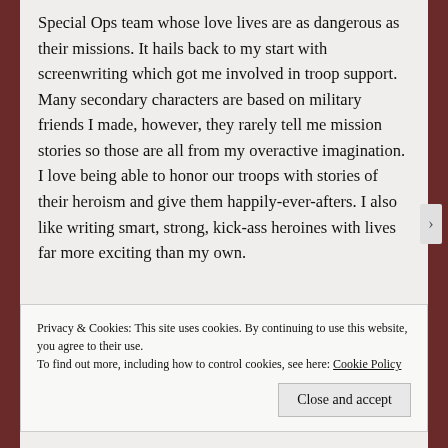Special Ops team whose love lives are as dangerous as their missions. It hails back to my start with screenwriting which got me involved in troop support. Many secondary characters are based on military friends I made, however, they rarely tell me mission stories so those are all from my overactive imagination. I love being able to honor our troops with stories of their heroism and give them happily-ever-afters. I also like writing smart, strong, kick-ass heroines with lives far more exciting than my own.
Privacy & Cookies: This site uses cookies. By continuing to use this website, you agree to their use.
To find out more, including how to control cookies, see here: Cookie Policy
Close and accept